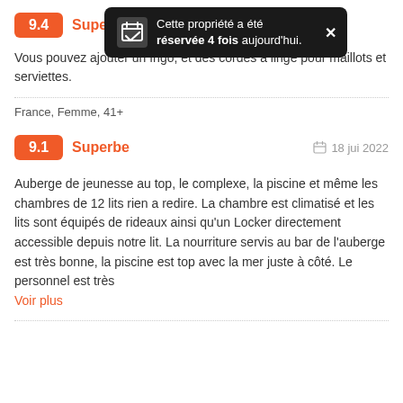[Figure (infographic): Rating badge showing 9.4 Superbe with a dark tooltip bubble: 'Cette propriété a été réservée 4 fois aujourd'hui.' with a calendar/check icon and X close button]
Vous pouvez ajouter un frigo, et des cordes à linge pour maillots et serviettes.
France, Femme, 41+
[Figure (infographic): Rating badge showing 9.1 Superbe with date 18 jun 2022]
Auberge de jeunesse au top, le complexe, la piscine et même les chambres de 12 lits rien a redire. La chambre est climatisé et les lits sont équipés de rideaux ainsi qu'un Locker directement accessible depuis notre lit. La nourriture servis au bar de l'auberge est très bonne, la piscine est top avec la mer juste à côté. Le personnel est très
Voir plus